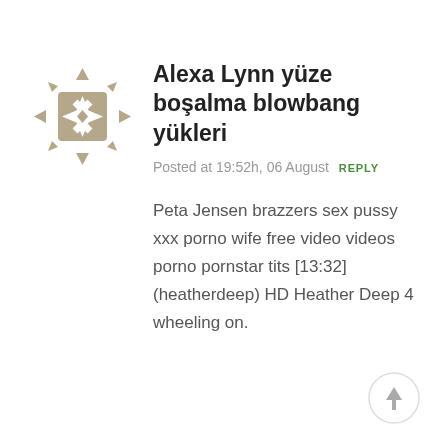[Figure (illustration): Decorative geometric avatar icon in tan/khaki color with diamond and arrow shapes]
Alexa Lynn yüze boşalma blowbang yükleri
Posted at 19:52h, 06 August  REPLY
Peta Jensen brazzers sex pussy xxx porno wife free video videos porno pornstar tits [13:32] (heatherdeep) HD Heather Deep 4 wheeling on.
[Figure (illustration): Back to top button: circle with upward arrow]